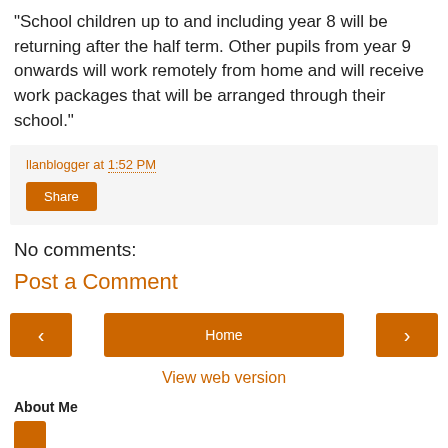"School children up to and including year 8 will be returning after the half term. Other pupils from year 9 onwards will work remotely from home and will receive work packages that will be arranged through their school."
llanblogger at 1:52 PM
Share
No comments:
Post a Comment
< Home >
View web version
About Me